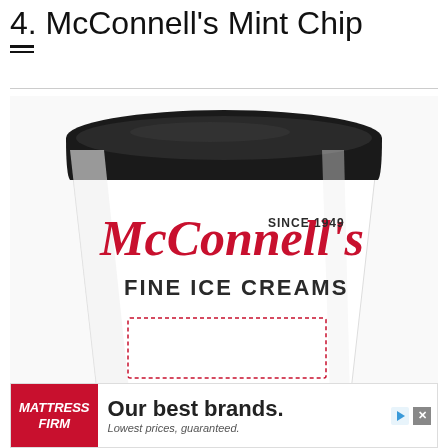4. McConnell's Mint Chip
[Figure (photo): A white cylindrical ice cream container with a black lid. The container features the McConnell's brand logo in red cursive script with 'SINCE 1949' and 'FINE ICE CREAMS' in dark text below. A red dotted rectangle outline is visible near the bottom of the container.]
[Figure (other): Advertisement banner for Mattress Firm reading 'Our best brands. Lowest prices, guaranteed.']